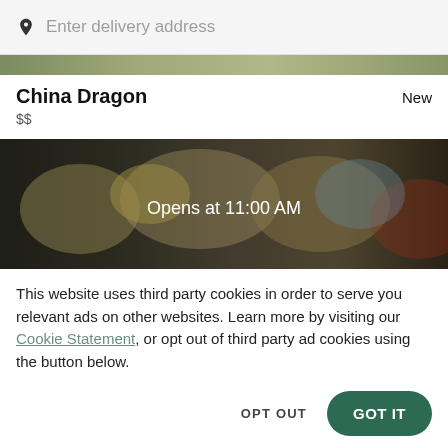Enter delivery address
[Figure (photo): Thin banner image of food/restaurant scene at top]
China Dragon
$$
New
[Figure (photo): Dark food photo banner with text 'Opens at 11:00 AM' overlaid in white]
This website uses third party cookies in order to serve you relevant ads on other websites. Learn more by visiting our Cookie Statement, or opt out of third party ad cookies using the button below.
OPT OUT
GOT IT